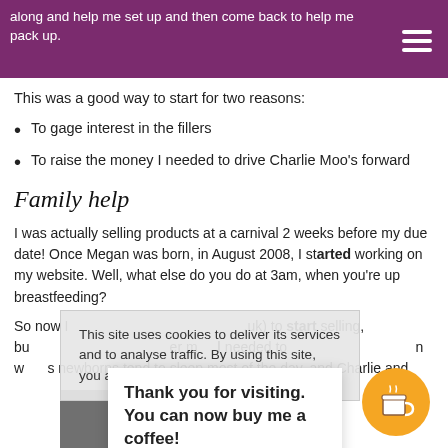along and help me set up and then come back to help me pack up.
This was a good way to start for two reasons:
To gage interest in the fillers
To raise the money I needed to drive Charlie Moo's forward
Family help
I was actually selling products at a carnival 2 weeks before my due date! Once Megan was born, in August 2008, I started working on my website. Well, what else do you do at 3am, when you're up breastfeeding?
So now I [charlieamoo.co.uk] to start selling, but [er m] needed to [n w s newborns tend to sleep most of the day, and Charlie and
This site uses cookies to deliver its services and to analyse traffic. By using this site, you agree to its use of cookies. Learn more
Thank you for visiting. You can now buy me a coffee!